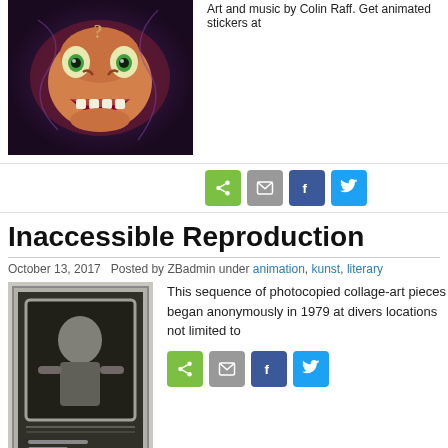[Figure (illustration): Colorful surreal cartoon face with large eyes and open mouth, distorted psychedelic style]
Art and music by Colin Raff. Get animated stickers at
[Figure (other): Share buttons: green share, email, Facebook, Twitter]
Inaccessible Reproduction
October 13, 2017   Posted by ZBadmin under animation, kunst, literary
[Figure (photo): Black and white photocopied collage art showing a figure in a frame]
This sequence of photocopied collage-art pieces began anonymously in 1979 at divers locations not limited to
[Figure (other): Share buttons: green share, email, Facebook, Twitter]
These here lenses just might have quality you've been looking for
September 14, 2017   Posted by ZBadmin under animation, kunst
[Figure (photo): Black and white photo of two people]
Instinctively Dodging a Sharp Tool Made for Pleasure
[Figure (other): Share buttons: green share, email, Facebook, Twitter]